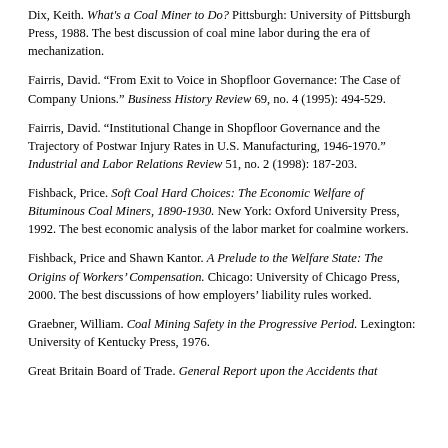Dix, Keith. What's a Coal Miner to Do? Pittsburgh: University of Pittsburgh Press, 1988. The best discussion of coal mine labor during the era of mechanization.
Fairris, David. “From Exit to Voice in Shopfloor Governance: The Case of Company Unions.” Business History Review 69, no. 4 (1995): 494-529.
Fairris, David. “Institutional Change in Shopfloor Governance and the Trajectory of Postwar Injury Rates in U.S. Manufacturing, 1946-1970.” Industrial and Labor Relations Review 51, no. 2 (1998): 187-203.
Fishback, Price. Soft Coal Hard Choices: The Economic Welfare of Bituminous Coal Miners, 1890-1930. New York: Oxford University Press, 1992. The best economic analysis of the labor market for coalmine workers.
Fishback, Price and Shawn Kantor. A Prelude to the Welfare State: The Origins of Workers’ Compensation. Chicago: University of Chicago Press, 2000. The best discussions of how employers’ liability rules worked.
Graebner, William. Coal Mining Safety in the Progressive Period. Lexington: University of Kentucky Press, 1976.
Great Britain Board of Trade. General Report upon the Accidents that